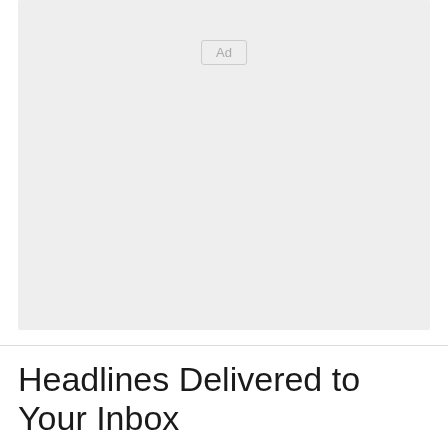[Figure (other): Advertisement placeholder box with 'Ad' label in upper center area, light gray background]
Headlines Delivered to Your Inbox
Sign up for The Gleaner's morning and